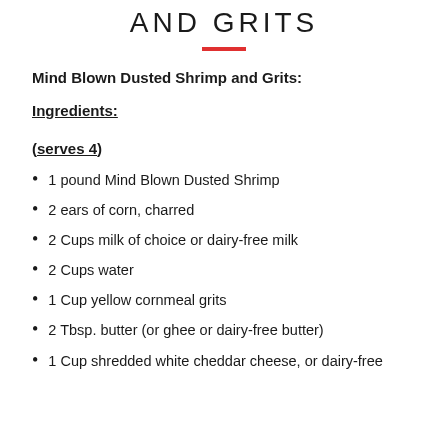AND GRITS
Mind Blown Dusted Shrimp and Grits:
Ingredients:
(serves 4)
1 pound Mind Blown Dusted Shrimp
2 ears of corn, charred
2 Cups milk of choice or dairy-free milk
2 Cups water
1 Cup yellow cornmeal grits
2 Tbsp. butter (or ghee or dairy-free butter)
1 Cup shredded white cheddar cheese, or dairy-free